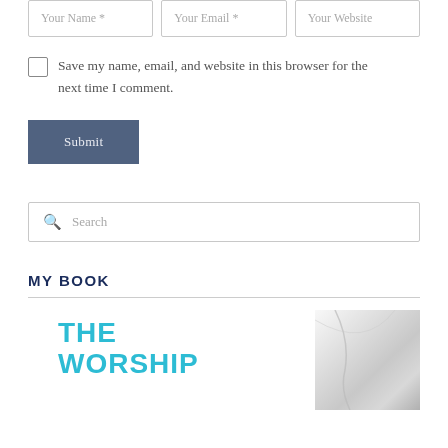[Figure (screenshot): Web form with three input fields: Your Name *, Your Email *, Your Website]
Save my name, email, and website in this browser for the next time I comment.
Submit
Search
MY BOOK
[Figure (photo): Book cover showing 'THE WORSHIP' title text in teal/cyan color with a partial view of a white/silver book spine on the right side]